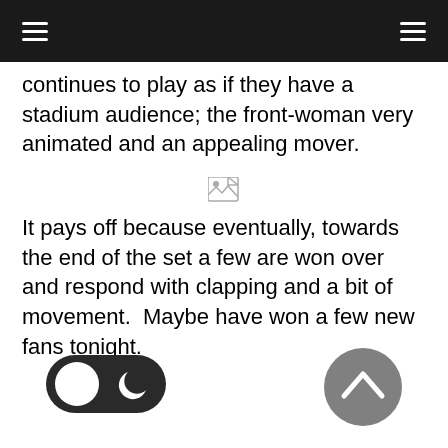continues to play as if they have a stadium audience; the front-woman very animated and an appealing mover.
[Figure (illustration): Broken/missing image placeholder icon]
It pays off because eventually, towards the end of the set a few are won over and respond with clapping and a bit of movement.  Maybe have won a few new fans tonight.
[Figure (other): Dark mode toggle switch with moon icon]
[Figure (other): Scroll to top button - upward chevron in grey circle]